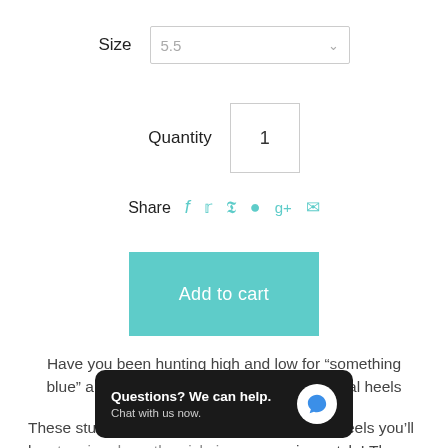Size   5.5
Quantity   1
Share
Add to cart
Have you been hunting high and low for “something blue” and blinged out? Our aqua crystal bridal heels are here to save the day!
These stunning bri... e and with super high heels you’ll be stepping down the aisle in some serious style! The shoes are encrusted with fabulous, aqua Swarovski crystals and the
[Figure (screenshot): Chat widget overlay with text 'Questions? We can help. Chat with us now.' and a blue speech bubble icon on dark background]